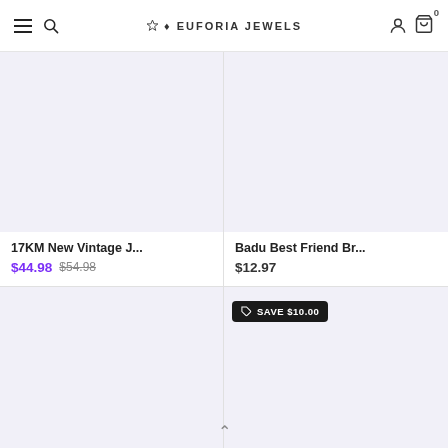EUFORIA JEWELS
[Figure (photo): Product image placeholder for 17KM New Vintage J... — light lavender background]
17KM New Vintage J...
$44.98 $54.98
[Figure (photo): Product image placeholder for Badu Best Friend Br... — light lavender background]
Badu Best Friend Br...
$12.97
[Figure (photo): Product image placeholder — light lavender background, bottom-left card]
[Figure (photo): Product image placeholder — light lavender background with SAVE $10.00 badge]
SAVE $10.00